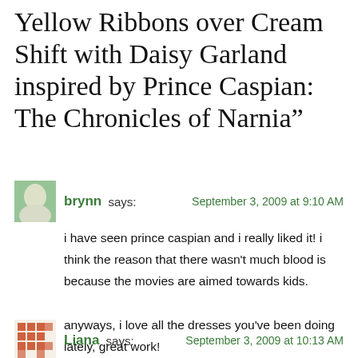Yellow Ribbons over Cream Shift with Daisy Garland inspired by Prince Caspian: The Chronicles of Narnia”
brynn says: September 3, 2009 at 9:10 AM
i have seen prince caspian and i really liked it! i think the reason that there wasn't much blood is because the movies are aimed towards kids.
anyways, i love all the dresses you've been doing lately, great work!
Reply
Liana says: September 3, 2009 at 10:13 AM